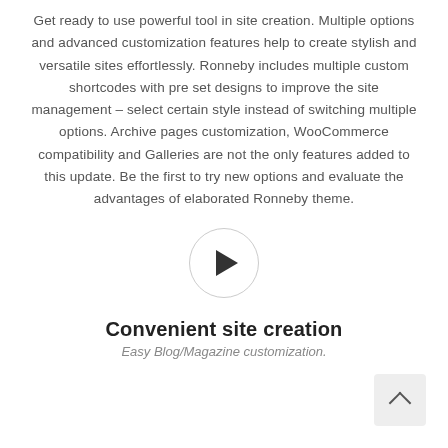Get ready to use powerful tool in site creation. Multiple options and advanced customization features help to create stylish and versatile sites effortlessly. Ronneby includes multiple custom shortcodes with pre set designs to improve the site management – select certain style instead of switching multiple options. Archive pages customization, WooCommerce compatibility and Galleries are not the only features added to this update. Be the first to try new options and evaluate the advantages of elaborated Ronneby theme.
[Figure (other): A circular play button with a right-pointing triangle/arrow in the center, outlined by a thin light grey circle border.]
Convenient site creation
Easy Blog/Magazine customization.